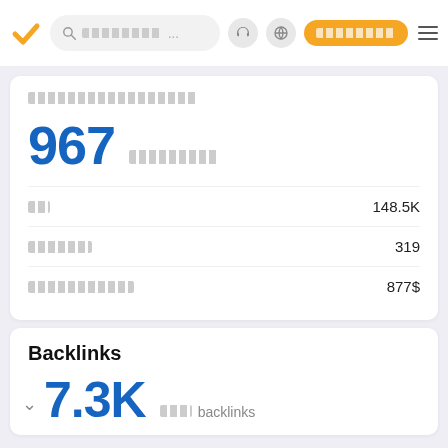Navigation bar with logo, search, icons, CTA button
[redacted label - obscured text]
967 [obscured unit text]
[obscured label 1]  148.5K
[obscured label 2]  319
[obscured label 3]  877$
Backlinks
7.3K  [obscured] backlinks